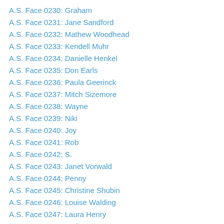A.S. Face 0230: Graham
A.S. Face 0231: Jane Sandford
A.S. Face 0232: Mathew Woodhead
A.S. Face 0233: Kendell Muhr
A.S. Face 0234: Danielle Henkel
A.S. Face 0235: Don Earls
A.S. Face 0236: Paula Geerinck
A.S. Face 0237: Mitch Sizemore
A.S. Face 0238: Wayne
A.S. Face 0239: Niki
A.S. Face 0240: Joy
A.S. Face 0241: Rob
A.S. Face 0242: S.
A.S. Face 0243: Janet Vorwald
A.S. Face 0244: Penny
A.S. Face 0245: Christine Shubin
A.S. Face 0246: Louise Walding
A.S. Face 0247: Laura Henry
A.S. Face 0248: Audrey Largent
A.S. Face 0249: Tami Holm